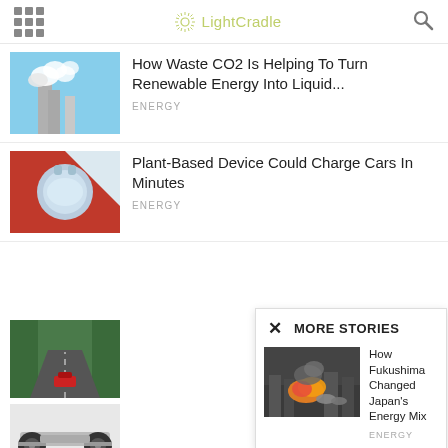LightCradle
[Figure (screenshot): Article thumbnail: industrial smokestacks with white smoke against blue sky]
How Waste CO2 Is Helping To Turn Renewable Energy Into Liquid...
ENERGY
[Figure (photo): Article thumbnail: plant-based device, light blue rounded object on red background]
Plant-Based Device Could Charge Cars In Minutes
ENERGY
[Figure (photo): Article thumbnail: red car driving on a forest road]
[Figure (photo): Article thumbnail: EV skateboard chassis with wheels]
MORE STORIES
[Figure (photo): More stories thumbnail: Fukushima explosion aerial view with fire]
How Fukushima Changed Japan's Energy Mix
ENERGY